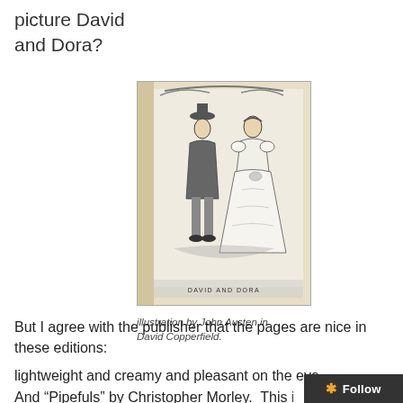picture David
and Dora?
[Figure (illustration): A black and white illustration from a book showing two Victorian-era figures — a man in a top hat and a woman in a large ball gown — labeled 'DAVID AND DORA' at the bottom. The image appears to be a photograph of a book page.]
illustration by John Austen in David Copperfield.
But I agree with the publisher that the pages are nice in these editions:
lightweight and creamy and pleasant on the eye . . .
And “Pipefuls” by Christopher Morley.  This is a colle